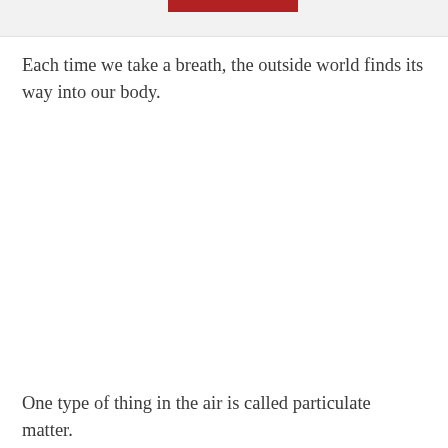[Figure (other): Red horizontal bar at top of page, partial view of a header image]
Each time we take a breath, the outside world finds its way into our body.
One type of thing in the air is called particulate matter.